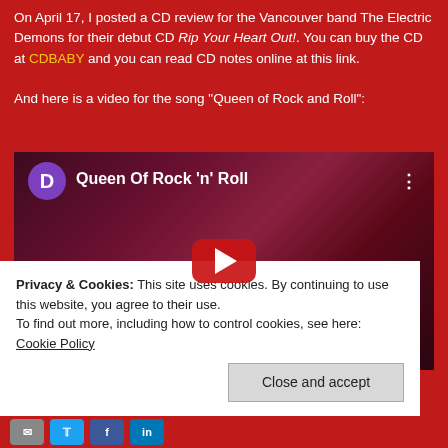On April 17, I posted a CD review for the Vancouver band The Electric Demons for their debut CD Rip Your Heart Out!. You can buy the CD at CDBABY and you can read CD notes online at this link.
And here is a video for the song "Queen of Rock and Roll":
[Figure (screenshot): Embedded YouTube video player showing 'Queen Of Rock n Roll' with a purple avatar circle showing letter D, play button overlay, and a dark reddish concert photo background]
Privacy & Cookies: This site uses cookies. By continuing to use this website, you agree to their use.
To find out more, including how to control cookies, see here: Cookie Policy
[Figure (other): Social sharing icons row: email, Twitter, Facebook, LinkedIn]